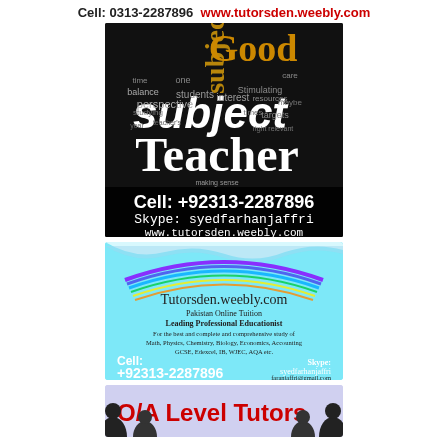Cell: 0313-2287896  www.tutorsden.weebly.com
[Figure (illustration): Dark word-cloud advertisement showing education-related words with 'Teacher' prominent, and contact details: Cell: +92313-2287896, Skype: syedfarhanjaffri, www.tutorsden.weebly.com]
[Figure (illustration): Light blue advertisement card for Tutorsden.weebly.com showing: Pakistan Online Tuition, Leading Professional Educationist, for Math, Physics, Chemistry, Biology, Economics, Accounting, GCSE, Edexcel, IB, WJEC, AQA etc. Cell: +92313-2287896, Skype: syedfarhanjaffri, faranjaffri@gmail.com]
[Figure (illustration): Purple/lavender background advertisement showing 'O/A Level Tutors' in red text with silhouettes of people]